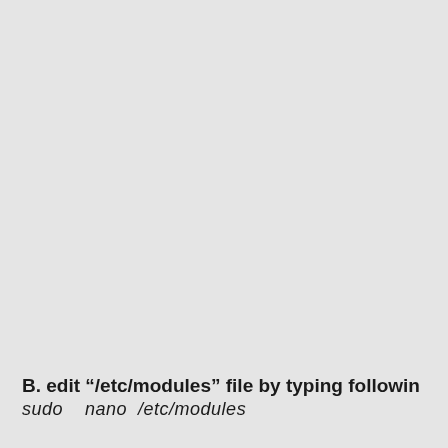B. edit “/etc/modules” file by typing following
sudo   nano  /etc/modules